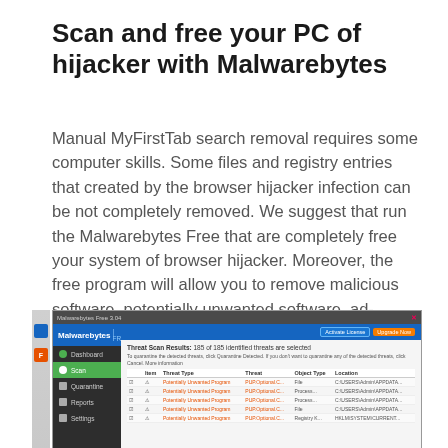Scan and free your PC of hijacker with Malwarebytes
Manual MyFirstTab search removal requires some computer skills. Some files and registry entries that created by the browser hijacker infection can be not completely removed. We suggest that run the Malwarebytes Free that are completely free your system of browser hijacker. Moreover, the free program will allow you to remove malicious software, potentially unwanted software, ad-supported software and toolbars that your machine can be infected too.
[Figure (screenshot): Screenshot of Malwarebytes Free application showing Threat Scan Results: 185 of 185 identified threats are selected. The interface shows a sidebar with Dashboard, Scan, Quarantine, Reports, and Settings items. The main panel shows a table of Potentially Unwanted Program threats with columns for Item, Threat Type, Threat, Object Type, and Location.]